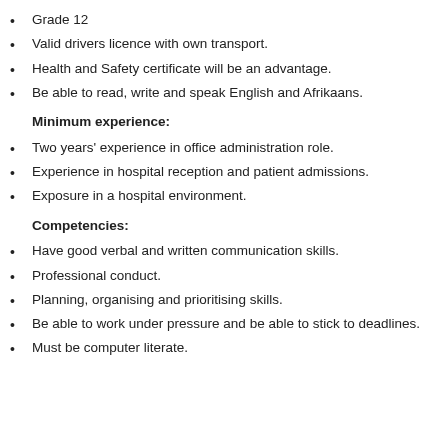Grade 12
Valid drivers licence with own transport.
Health and Safety certificate will be an advantage.
Be able to read, write and speak English and Afrikaans.
Minimum experience:
Two years' experience in office administration role.
Experience in hospital reception and patient admissions.
Exposure in a hospital environment.
Competencies:
Have good verbal and written communication skills.
Professional conduct.
Planning, organising and prioritising skills.
Be able to work under pressure and be able to stick to deadlines.
Must be computer literate.